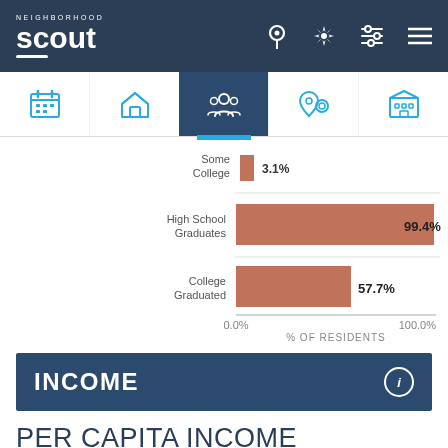Neighborhood Scout
[Figure (bar-chart): Education - % of Residents]
INCOME
PER CAPITA INCOME